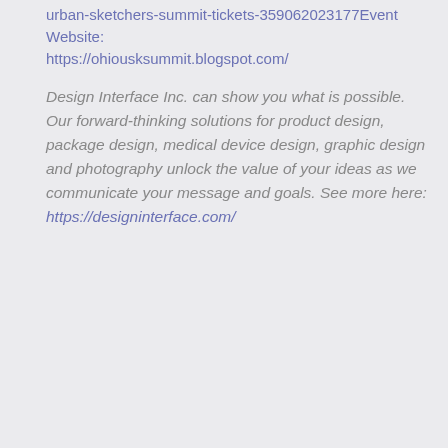urban-sketchers-summit-tickets-359062023177Event Website: https://ohiousksummit.blogspot.com/
Design Interface Inc. can show you what is possible. Our forward-thinking solutions for product design, package design, medical device design, graphic design and photography unlock the value of your ideas as we communicate your message and goals. See more here: https://designinterface.com/